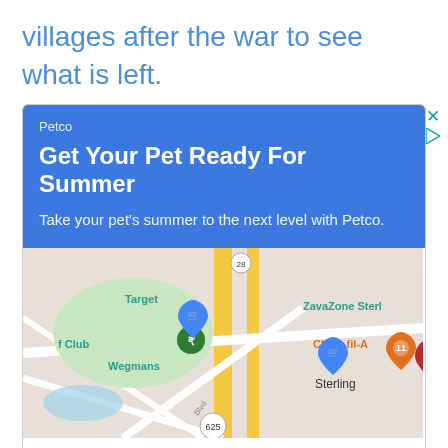villages after the war to see what is left.
[Figure (screenshot): Petco advertisement with blue header showing 'Get Your Pet Ready For Summer', Google Maps location view showing Sterling VA area with Target, Wegmans, Chick-fil-A markers, and two buttons: Store info and Directions]